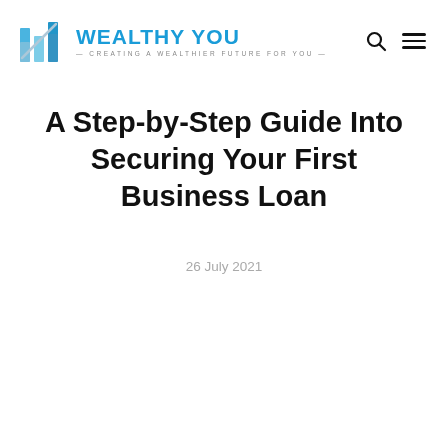Wealthy You — Creating a Wealthier Future for You
A Step-by-Step Guide Into Securing Your First Business Loan
26 July 2021